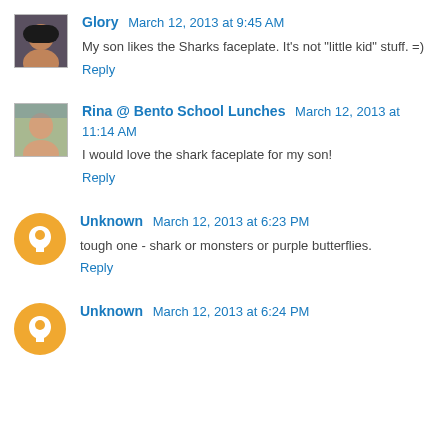Glory March 12, 2013 at 9:45 AM
My son likes the Sharks faceplate. It's not "little kid" stuff. =)
Reply
Rina @ Bento School Lunches March 12, 2013 at 11:14 AM
I would love the shark faceplate for my son!
Reply
Unknown March 12, 2013 at 6:23 PM
tough one - shark or monsters or purple butterflies.
Reply
Unknown March 12, 2013 at 6:24 PM